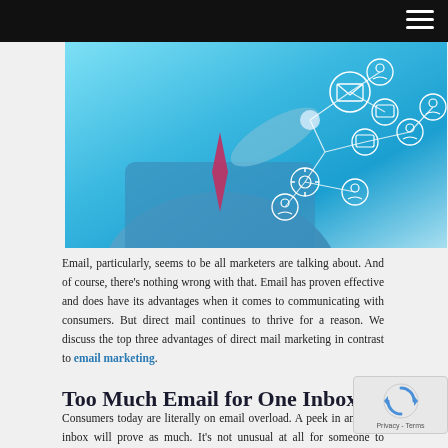[Figure (photo): Person in blue suit pointing at a network of email and communication icons connected by lines, on a blue-toned digital background.]
Email, particularly, seems to be all marketers are talking about. And of course, there's nothing wrong with that. Email has proven effective and does have its advantages when it comes to communicating with consumers. But direct mail continues to thrive for a reason. We discuss the top three advantages of direct mail marketing in contrast to email marketing.
Too Much Email for One Inbox
Consumers today are literally on email overload. A peek in anyone's inbox will prove as much. It's not unusual at all for someone to receive dozens of emails throughout the course of